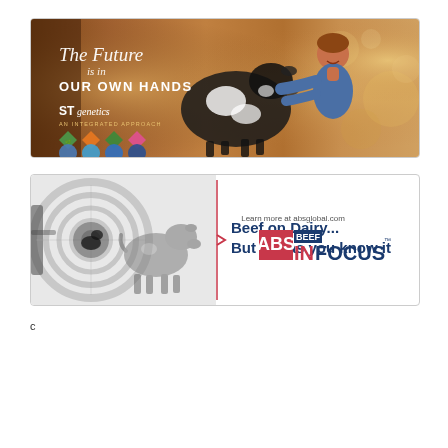[Figure (photo): STgenetics advertisement banner showing a boy with a dairy cow and text 'The Future is in OUR OWN HANDS' with STgenetics logo and product icons on warm brown/orange bokeh background]
[Figure (photo): ABS Beef In Focus advertisement showing a calf with optometry chart background on left, 'Beef on Dairy... But not as you know it' text in center, and ABS BEEF INFOCUS logo on right with 'Learn more at absglobal.com']
c